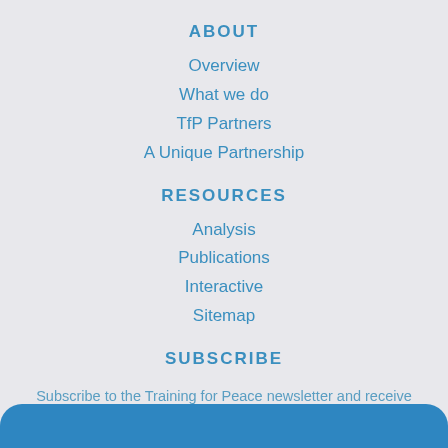ABOUT
Overview
What we do
TfP Partners
A Unique Partnership
RESOURCES
Analysis
Publications
Interactive
Sitemap
SUBSCRIBE
Subscribe to the Training for Peace newsletter and receive updates about our work and information from the field.